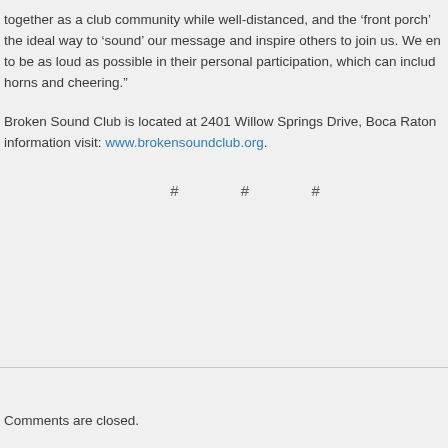together as a club community while well-distanced, and the ‘front porch’ the ideal way to ‘sound’ our message and inspire others to join us. We en to be as loud as possible in their personal participation, which can includ horns and cheering.”
Broken Sound Club is located at 2401 Willow Springs Drive, Boca Raton information visit: www.brokensoundclub.org.
# # #
Comments are closed.